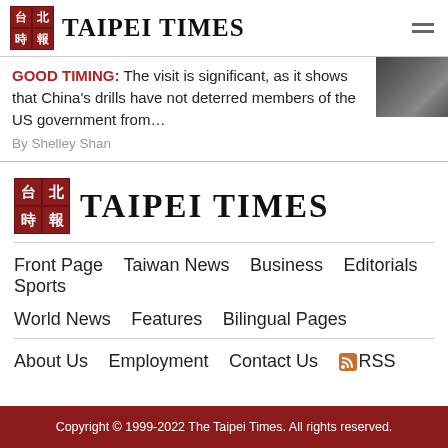TAIPEI TIMES
GOOD TIMING: The visit is significant, as it shows that China's drills have not deterred members of the US government from…
By Shelley Shan
[Figure (logo): Taipei Times logo with Chinese characters and English brand name]
Front Page
Taiwan News
Business
Editorials
Sports
World News
Features
Bilingual Pages
About Us
Employment
Contact Us
RSS
Copyright © 1999-2022 The Taipei Times. All rights reserved.